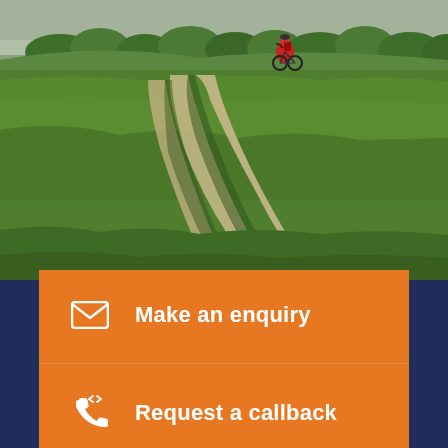[Figure (photo): A mountain biker riding along a dusty gravel track through green fields, viewed from behind, with rolling countryside and trees in the background under an overcast sky.]
Make an enquiry
Request a callback